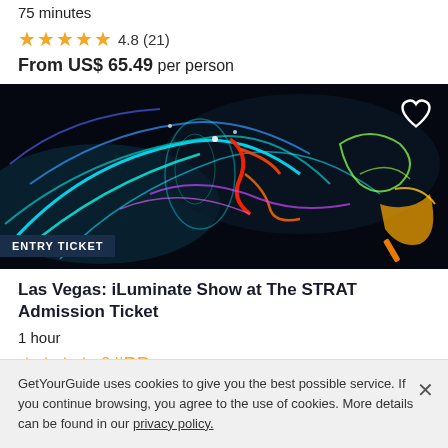75 minutes
★★★★★ 4.8 (21)
From US$ 65.49 per person
[Figure (photo): Neon light art performance photo with colorful glowing trails on black background, labeled ENTRY TICKET]
Las Vegas: iLuminate Show at The STRAT Admission Ticket
1 hour
★★★★½ 4.6 (16)
From US$ 63.55 per person
GetYourGuide uses cookies to give you the best possible service. If you continue browsing, you agree to the use of cookies. More details can be found in our privacy policy.